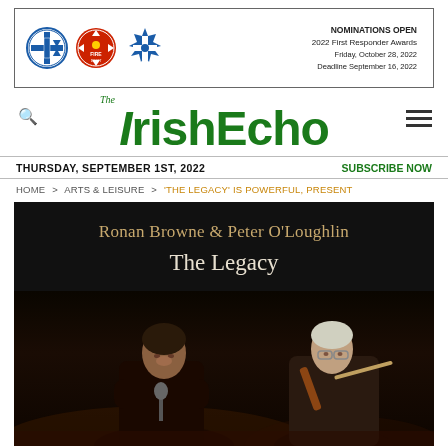[Figure (infographic): Banner advertisement for 2022 First Responder Awards with three logos (EMT, Fire Department, EMS) on the left and text on the right reading: NOMINATIONS OPEN, 2022 First Responder Awards, Friday, October 28, 2022, Deadline September 16, 2022]
The IrishEcho
THURSDAY, SEPTEMBER 1ST, 2022
SUBSCRIBE NOW
HOME > ARTS & LEISURE > 'THE LEGACY' IS POWERFUL, PRESENT
[Figure (photo): Album cover / performance photo for 'The Legacy' by Ronan Browne & Peter O'Loughlin. Dark background with gold text showing artist names at top and album title below. Two musicians visible at bottom: a younger man on left and an older man playing violin on right.]